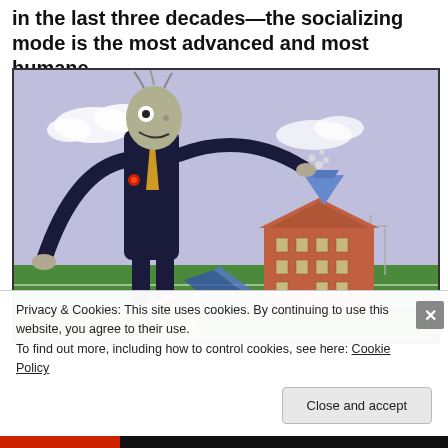in the last three decades—the socializing mode is the most advanced and most humane.
[Figure (illustration): Surrealist illustration of a grotesque, lanky figure in a dark suit with a skeletal/zombie-like head, standing over a brick school building on a green field. The figure has exaggerated long arms and appears to be pouring something into a funnel atop the building. Pink/red tendrils or flames emerge from the lower center. Rugby/football goal posts visible in the background under a blue sky with clouds.]
Privacy & Cookies: This site uses cookies. By continuing to use this website, you agree to their use.
To find out more, including how to control cookies, see here: Cookie Policy
Close and accept